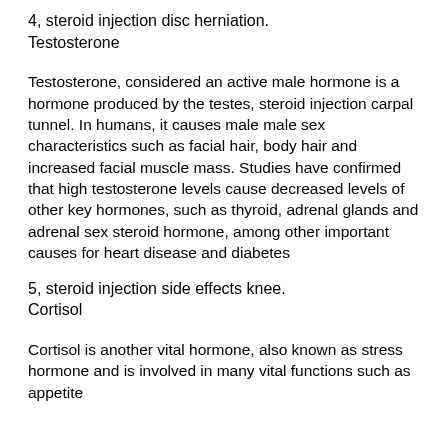4, steroid injection disc herniation. Testosterone
Testosterone, considered an active male hormone is a hormone produced by the testes, steroid injection carpal tunnel. In humans, it causes male male sex characteristics such as facial hair, body hair and increased facial muscle mass. Studies have confirmed that high testosterone levels cause decreased levels of other key hormones, such as thyroid, adrenal glands and adrenal sex steroid hormone, among other important causes for heart disease and diabetes
5, steroid injection side effects knee. Cortisol
Cortisol is another vital hormone, also known as stress hormone and is involved in many vital functions such as appetite...